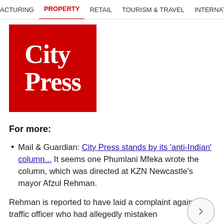ACTURING   PROPERTY   RETAIL   TOURISM & TRAVEL   INTERNATIONAL
[Figure (logo): City Press logo — white bold serif text on red square background]
For more:
Mail & Guardian: City Press stands by its 'anti-Indian' column... It seems one Phumlani Mfeka wrote the column, which was directed at KZN Newcastle's mayor Afzul Rehman.
Rehman is reported to have laid a complaint against a traffic officer who had allegedly mistaken